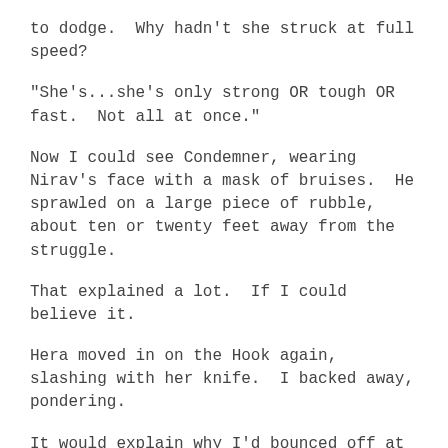to dodge.  Why hadn't she struck at full speed?
"She's...she's only strong OR tough OR fast.  Not all at once."
Now I could see Condemner, wearing Nirav's face with a mask of bruises.  He sprawled on a large piece of rubble, about ten or twenty feet away from the struggle.
That explained a lot.  If I could believe it.
Hera moved in on the Hook again, slashing with her knife.  I backed away, pondering.
It would explain why I'd bounced off at the start.  Naturally she'd keep herself durable while she wasn't